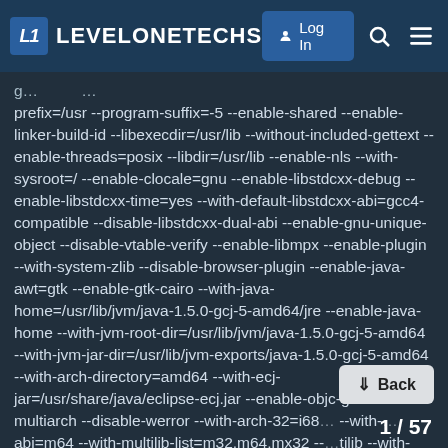L1 LEVELONETECHS | Log In
prefix=/usr --program-suffix=-5 --enable-shared --enable-linker-build-id --libexecdir=/usr/lib --without-included-gettext --enable-threads=posix --libdir=/usr/lib --enable-nls --with-sysroot=/ --enable-clocale=gnu --enable-libstdcxx-debug --enable-libstdcxx-time=yes --with-default-libstdcxx-abi=gcc4-compatible --disable-libstdcxx-dual-abi --enable-gnu-unique-object --disable-vtable-verify --enable-libmpx --enable-plugin --with-system-zlib --disable-browser-plugin --enable-java-awt=gtk --enable-gtk-cairo --with-java-home=/usr/lib/jvm/java-1.5.0-gcj-5-amd64/jre --enable-java-home --with-jvm-root-dir=/usr/lib/jvm/java-1.5.0-gcj-5-amd64 --with-jvm-jar-dir=/usr/lib/jvm-exports/java-1.5.0-gcj-5-amd64 --with-arch-directory=amd64 --with-ecj-jar=/usr/share/java/eclipse-ecj.jar --enable-objc-gc --enable-multiarch --disable-werror --with-arch-32=i68... --with-... abi=m64 --with-multilib-list=m32,m64,mx32 --...tilib --with-tune=generic --enable-checking=release build=x86_64-linux-gnu --host=x86_64-li... target=x86_64-linux-gnu